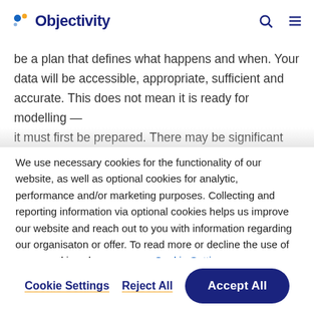Objectivity
be a plan that defines what happens and when. Your data will be accessible, appropriate, sufficient and accurate. This does not mean it is ready for modelling — it must first be prepared. There may be significant
We use necessary cookies for the functionality of our website, as well as optional cookies for analytic, performance and/or marketing purposes. Collecting and reporting information via optional cookies helps us improve our website and reach out to you with information regarding our organisaton or offer. To read more or decline the use of some cookies please see our Cookie Settings.
Cookie Settings  Reject All  Accept All